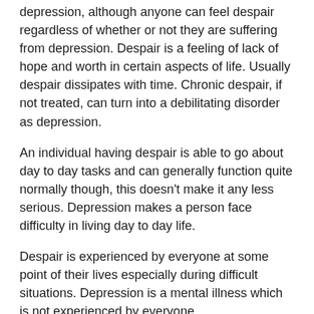depression, although anyone can feel despair regardless of whether or not they are suffering from depression. Despair is a feeling of lack of hope and worth in certain aspects of life. Usually despair dissipates with time. Chronic despair, if not treated, can turn into a debilitating disorder as depression.
An individual having despair is able to go about day to day tasks and can generally function quite normally though, this doesn't make it any less serious. Depression makes a person face difficulty in living day to day life.
Despair is experienced by everyone at some point of their lives especially during difficult situations. Depression is a mental illness which is not experienced by everyone.
Despair dissipates with time. Depression usually doesn't dissipate with time. It needs interventions and medications for proper cure.